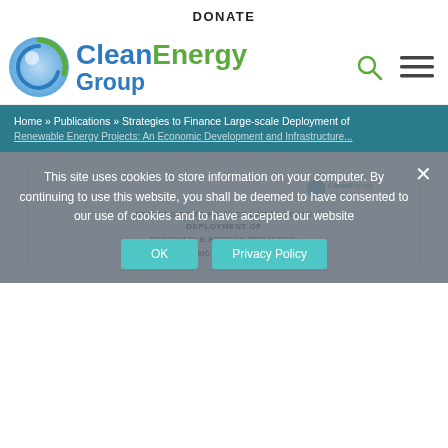DONATE
[Figure (logo): Clean Energy Group logo with blue and green swirl icon and text 'CleanEnergy Group' in blue and green]
Home » Publications » Strategies to Finance Large-scale Deployment of Renewable Energy Projects: An Economic Development and Infrastructure...
This site uses cookies to store information on your computer. By continuing to use this website, you shall be deemed to have consented to our use of cookies and to have accepted our website
OK   Privacy Policy
STRATEGIES TO FINANCE LARGE-SCALE DEPLOYMENT OF RENEWABLE ENERGY PROJECTS: AN ECONOMIC DEVELOPMENT AND